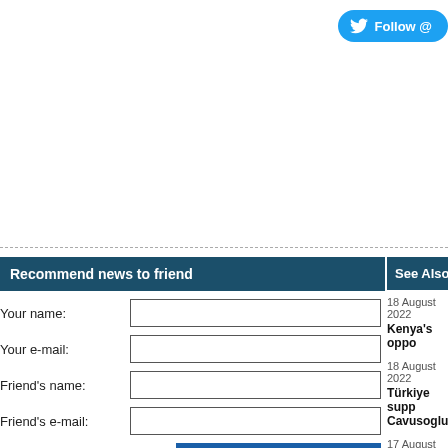[Figure (other): Twitter Follow button in top right corner, showing Twitter bird logo and text 'Follow @']
Recommend news to friend
Your name:
Your e-mail:
Friend's name:
Friend's e-mail:
Send
See Also
18 August 2022
Kenya's oppo
18 August 2022
Türkiye supp Cavusoglu
17 August 2022
Erdogan, Gut